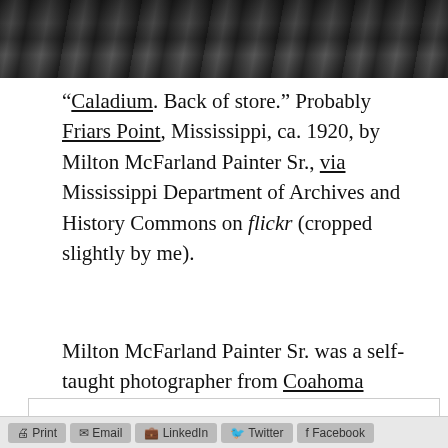[Figure (photo): Black and white historical photograph, cropped — shows ground/vegetation, dark tones, top portion of image.]
“Caladium. Back of store.” Probably Friars Point, Mississippi, ca. 1920, by Milton McFarland Painter Sr., via Mississippi Department of Archives and History Commons on flickr (cropped slightly by me).
Milton McFarland Painter Sr. was a self-taught photographer from Coahoma County, Mississippi. He took at least 1,073 photos of his
Privacy & Cookies: This site uses cookies. By continuing to use this website, you agree to their use.
To find out more, including how to control cookies, see here: Our Cookie Policy
Close and accept
Print   Email   LinkedIn   Twitter   Facebook